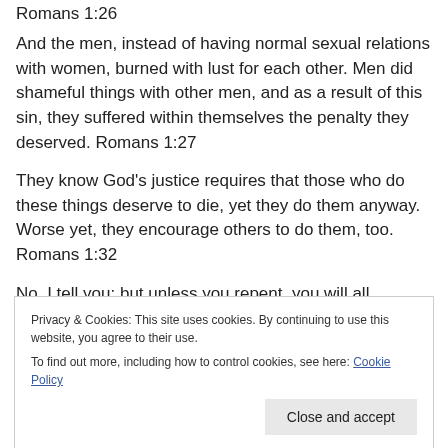Romans 1:26
And the men, instead of having normal sexual relations with women, burned with lust for each other. Men did shameful things with other men, and as a result of this sin, they suffered within themselves the penalty they deserved. Romans 1:27
They know God's justice requires that those who do these things deserve to die, yet they do them anyway. Worse yet, they encourage others to do them, too. Romans 1:32
No, I tell you: but unless you repent, you will all likewise
Privacy & Cookies: This site uses cookies. By continuing to use this website, you agree to their use.
To find out more, including how to control cookies, see here: Cookie Policy
[Figure (photo): Dark image at bottom of page]